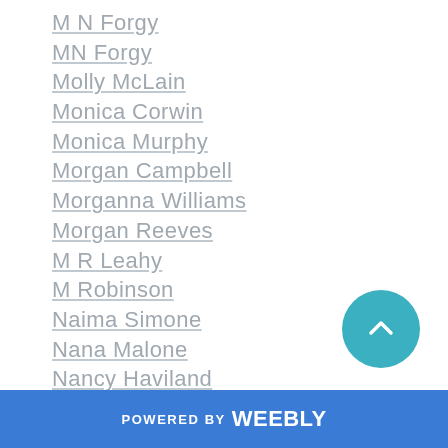M N Forgy
MN Forgy
Molly McLain
Monica Corwin
Monica Murphy
Morgan Campbell
Morganna Williams
Morgan Reeves
M R Leahy
M Robinson
Naima Simone
Nana Malone
Nancy Haviland
Natakie Rois
Natalie Decker
Natalie E Wrye
Natalina Reis
POWERED BY weebly